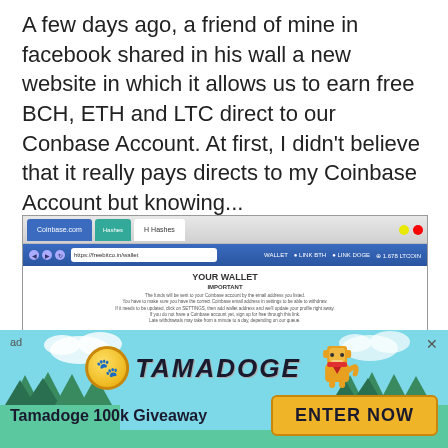A few days ago, a friend of mine in facebook shared in his wall a new website in which it allows us to earn free BCH, ETH and LTC direct to our Conbase Account. At first, I didn't believe that it really pays directs to my Coinbase Account but knowing...
[Figure (screenshot): Browser screenshot showing a cryptocurrency faucet website titled 'YOUR WALLET' with IMPORTANT notice and three dark cards showing 6,000 BITS, 9,000 GWEI, and 2,100 LITOSHI amounts with yellow 'CLAIM FOR NO LIMIT' buttons]
[Figure (infographic): Tamadoge 100k Giveaway advertisement banner with teal background, trees, Tamadoge logo with coin icon and dog character, and ENTER NOW button]